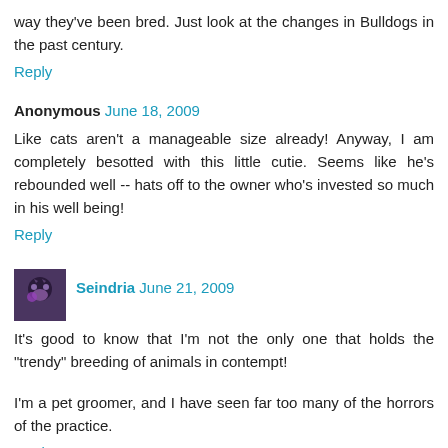way they've been bred. Just look at the changes in Bulldogs in the past century.
Reply
Anonymous June 18, 2009
Like cats aren't a manageable size already! Anyway, I am completely besotted with this little cutie. Seems like he's rebounded well -- hats off to the owner who's invested so much in his well being!
Reply
Seindria June 21, 2009
It's good to know that I'm not the only one that holds the "trendy" breeding of animals in contempt!
I'm a pet groomer, and I have seen far too many of the horrors of the practice.
Reply